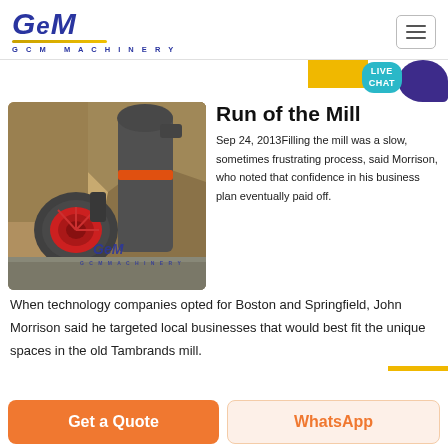GCM MACHINERY
[Figure (photo): Industrial mill machinery photograph showing large grey cylindrical vertical mill with orange accent band and a red centrifugal fan/blower unit in a rocky outdoor setting, watermarked with GCM Machinery logo]
Run of the Mill
Sep 24, 2013Filling the mill was a slow, sometimes frustrating process, said Morrison, who noted that confidence in his business plan eventually paid off.
When technology companies opted for Boston and Springfield, John Morrison said he targeted local businesses that would best fit the unique spaces in the old Tambrands mill.